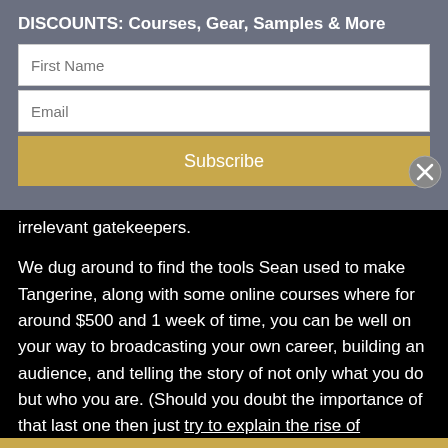DISCOUNTS: Courses, Gear, Samples & More
[Figure (screenshot): Email subscription form with First Name field, Email field, and a gold Subscribe button on a gray background. An X close button is visible on the right.]
irrelevant gatekeepers.
We dug around to find the tools Sean used to make Tangerine, along with some online courses where for around $500 and 1 week of time, you can be well on your way to broadcasting your own career, building an audience, and telling the story of not only what you do but who you are. (Should you doubt the importance of that last one then just try to explain the rise of Snapchat.)